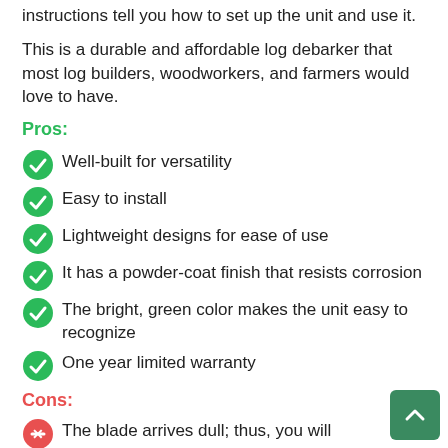instructions tell you how to set up the unit and use it.
This is a durable and affordable log debarker that most log builders, woodworkers, and farmers would love to have.
Pros:
Well-built for versatility
Easy to install
Lightweight designs for ease of use
It has a powder-coat finish that resists corrosion
The bright, green color makes the unit easy to recognize
One year limited warranty
Cons:
The blade arrives dull; thus, you will need to sharpen them before using the